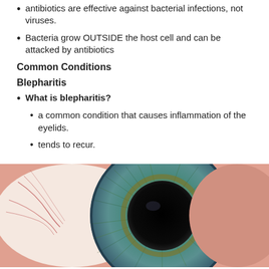antibiotics are effective against bacterial infections, not viruses.
Bacteria grow OUTSIDE the host cell and can be attacked by antibiotics
Common Conditions
Blepharitis
What is blepharitis?
a common condition that causes inflammation of the eyelids.
tends to recur.
[Figure (photo): Close-up macro photo of a human eye showing the iris and pupil in detail, with visible blood vessels in the sclera on the left side.]